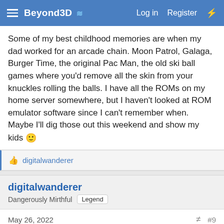Beyond3D — Log in  Register
Some of my best childhood memories are when my dad worked for an arcade chain. Moon Patrol, Galaga, Burger Time, the original Pac Man, the old ski ball games where you'd remove all the skin from your knuckles rolling the balls. I have all the ROMs on my home server somewhere, but I haven't looked at ROM emulator software since I can't remember when. Maybe I'll dig those out this weekend and show my kids 🙂
👍 digitalwanderer
digitalwanderer
Dangerously Mirthful  Legend
May 26, 2022  #9
Moon Patrol, gods that takes me back! I remember putting so many quarters/tokens in to that box, and one particular